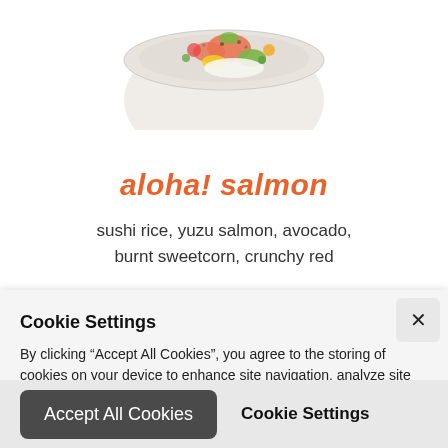[Figure (photo): Partial view of a bowl of aloha salmon dish with colorful toppings, cropped at top of page]
aloha! salmon
sushi rice, yuzu salmon, avocado, burnt sweetcorn, crunchy red
Cookie Settings
By clicking “Accept All Cookies”, you agree to the storing of cookies on your device to enhance site navigation, analyze site usage and assist in our marketing efforts. More info
Accept All Cookies
Cookie Settings